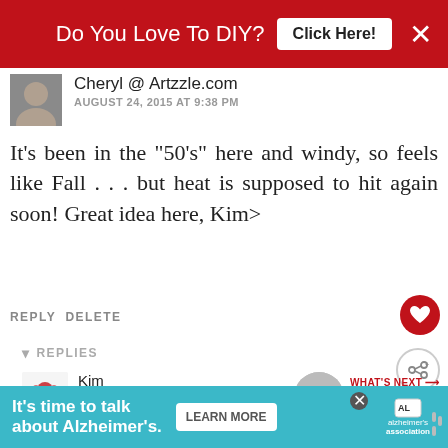[Figure (screenshot): Red banner advertisement: 'Do You Love To DIY? Click Here!' with close button]
Cheryl @ Artzzle.com
AUGUST 24, 2015 AT 9:38 PM
It's been in the "50's" here and windy, so feels like Fall . . . but heat is supposed to hit again soon! Great idea here, Kim>
REPLY DELETE
▾ REPLIES
Kim
AUGUST 29, 2015 AT 7:08
WHAT'S NEXT → How To Stain A Concrete...
50's???  Oh  Cheryl  no!  I
[Figure (screenshot): Bottom advertisement banner: 'It's time to talk about Alzheimer's.' with Learn More button and Alzheimer's Association logo]